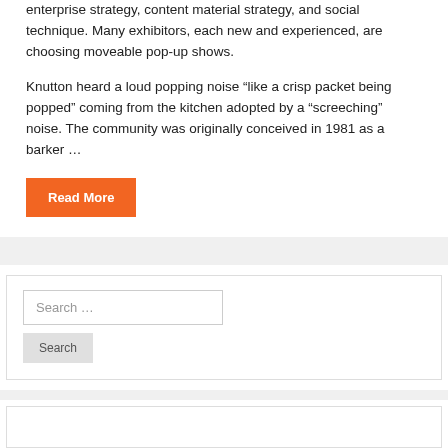enterprise strategy, content material strategy, and social technique. Many exhibitors, each new and experienced, are choosing moveable pop-up shows.
Knutton heard a loud popping noise “like a crisp packet being popped” coming from the kitchen adopted by a “screeching” noise. The community was originally conceived in 1981 as a barker …
Read More